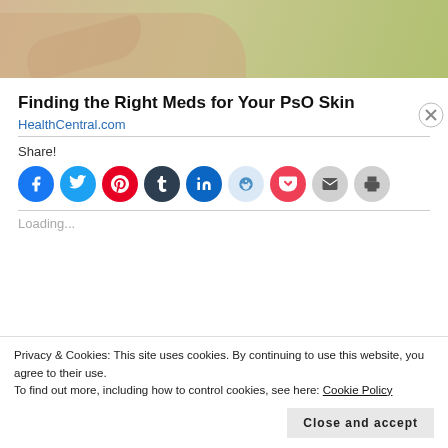[Figure (photo): Close-up photo of hands against a light green background, suggesting skin condition context]
Finding the Right Meds for Your PsO Skin
HealthCentral.com
Share!
[Figure (infographic): Row of circular social share buttons: Facebook, Twitter, Pinterest, Tumblr, LinkedIn, Reddit, Pocket, Email, Print]
Loading...
Privacy & Cookies: This site uses cookies. By continuing to use this website, you agree to their use. To find out more, including how to control cookies, see here: Cookie Policy
Close and accept